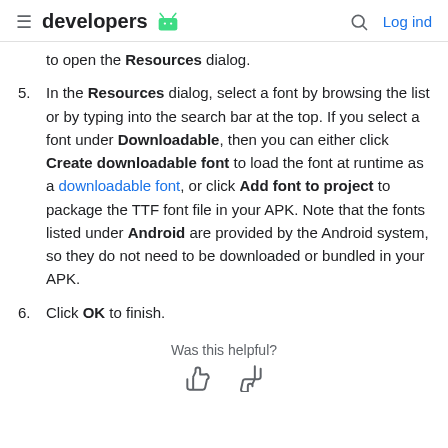developers  Log ind
to open the Resources dialog.
5. In the Resources dialog, select a font by browsing the list or by typing into the search bar at the top. If you select a font under Downloadable, then you can either click Create downloadable font to load the font at runtime as a downloadable font, or click Add font to project to package the TTF font file in your APK. Note that the fonts listed under Android are provided by the Android system, so they do not need to be downloaded or bundled in your APK.
6. Click OK to finish.
Was this helpful?